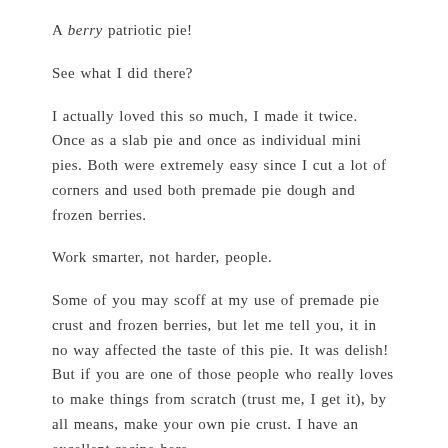A berry patriotic pie!
See what I did there?
I actually loved this so much, I made it twice. Once as a slab pie and once as individual mini pies. Both were extremely easy since I cut a lot of corners and used both premade pie dough and frozen berries.
Work smarter, not harder, people.
Some of you may scoff at my use of premade pie crust and frozen berries, but let me tell you, it in no way affected the taste of this pie. It was delish! But if you are one of those people who really loves to make things from scratch (trust me, I get it), by all means, make your own pie crust. I have an excellent recipe here.